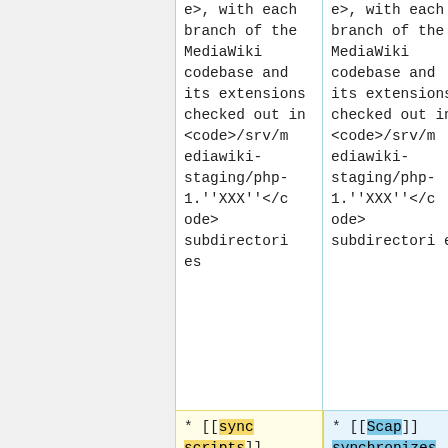e>, with each branch of the MediaWiki codebase and its extensions checked out in <code>/srv/mediawiki-staging/php-1.''XXX''</code> subdirectories
e>, with each branch of the MediaWiki codebase and its extensions checked out in <code>/srv/mediawiki-staging/php-1.''XXX''</code> subdirectories
* [[sync scripts]] synchronize that working
* [[Scap]] synchronizes that working copy on the